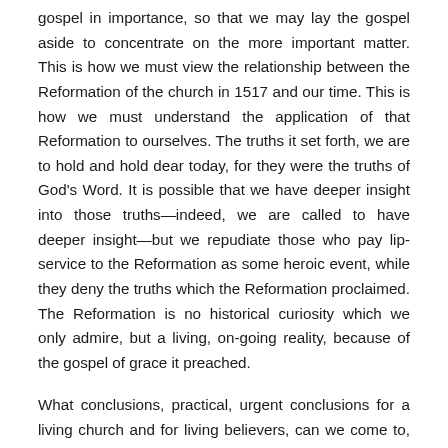gospel in importance, so that we may lay the gospel aside to concentrate on the more important matter. This is how we must view the relationship between the Reformation of the church in 1517 and our time. This is how we must understand the application of that Reformation to ourselves. The truths it set forth, we are to hold and hold dear today, for they were the truths of God's Word. It is possible that we have deeper insight into those truths—indeed, we are called to have deeper insight—but we repudiate those who pay lip-service to the Reformation as some heroic event, while they deny the truths which the Reformation proclaimed. The Reformation is no historical curiosity which we only admire, but a living, on-going reality, because of the gospel of grace it preached.
What conclusions, practical, urgent conclusions for a living church and for living believers, can we come to, from this understanding of the Reformation?
The first is that the Roman Catholic Church has not changed, not one whit, for the better from the time in the 16th century when Luther and the Reformation,